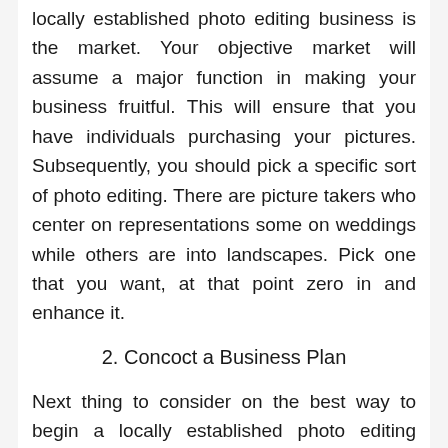locally established photo editing business is the market. Your objective market will assume a major function in making your business fruitful. This will ensure that you have individuals purchasing your pictures. Subsequently, you should pick a specific sort of photo editing. There are picture takers who center on representations some on weddings while others are into landscapes. Pick one that you want, at that point zero in and enhance it.
2. Concoct a Business Plan
Next thing to consider on the best way to begin a locally established photo editing business is too thought of a business plan. There are programming programs that you